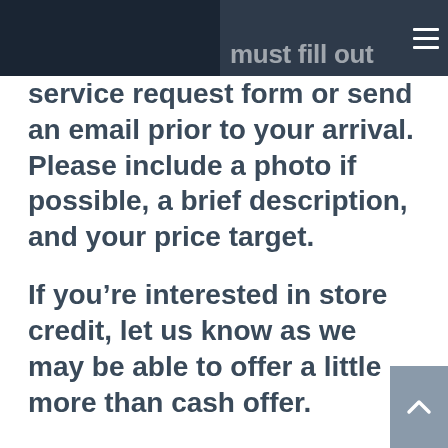must fill out
service request form or send an email prior to your arrival. Please include a photo if possible, a brief description, and your price target.
If you’re interested in store credit, let us know as we may be able to offer a little more than cash offer.
If you require no dollars in exchange for your item you may drop unwanted materials M – F 9:00 – 5:00 or Sundays. We prefer not to